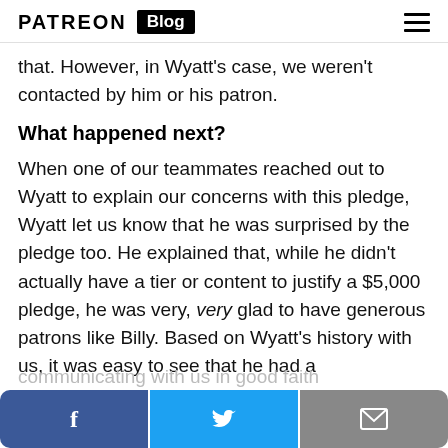PATREON Blog
that. However, in Wyatt's case, we weren't contacted by him or his patron.
What happened next?
When one of our teammates reached out to Wyatt to explain our concerns with this pledge, Wyatt let us know that he was surprised by the pledge too. He explained that, while he didn't actually have a tier or content to justify a $5,000 pledge, he was very, very glad to have generous patrons like Billy. Based on Wyatt's history with us, it was easy to see that he had a
communicating with us in good faith